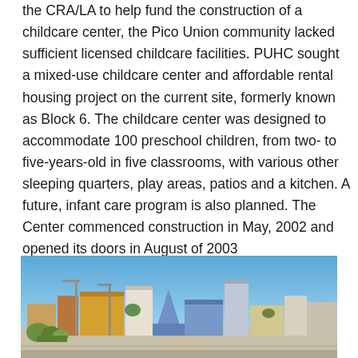the CRA/LA to help fund the construction of a childcare center, the Pico Union community lacked sufficient licensed childcare facilities. PUHC sought a mixed-use childcare center and affordable rental housing project on the current site, formerly known as Block 6. The childcare center was designed to accommodate 100 preschool children, from two- to five-years-old in five classrooms, with various other sleeping quarters, play areas, patios and a kitchen. A future, infant care program is also planned. The Center commenced construction in May, 2002 and opened its doors in August of 2003
[Figure (photo): Exterior street-level photograph showing a row of buildings including colorful structures with a blue-purple angular building on the right, under a clear blue sky, with streetlights and vegetation in the foreground.]